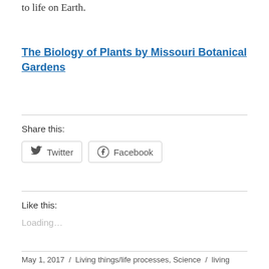to life on Earth.
The Biology of Plants by Missouri Botanical Gardens
Share this:
Twitter   Facebook
Like this:
Loading...
May 1, 2017 / Living things/life processes, Science / living